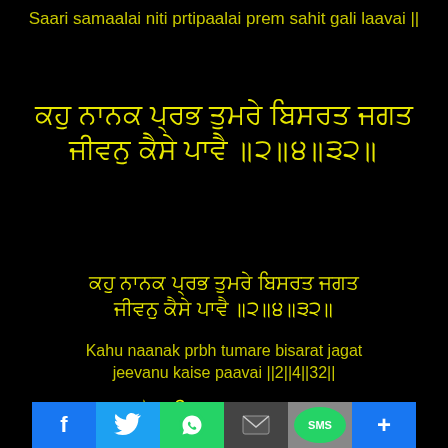Saari samaalai niti prtipaalai prem sahit gali laavai ||
ਕਹੁ ਨਾਨਕ ਪ੍ਰਭ ਤੁਮਰੇ ਬਿਸਰਤ ਜਗਤ ਜੀਵਨੁ ਕੈਸੇ ਪਾਵੈ ॥੨॥੪॥੩੨॥
ਕਹੁ ਨਾਨਕ ਪ੍ਰਭ ਤੁਮਰੇ ਬਿਸਰਤ ਜਗਤ ਜੀਵਨੁ ਕੈਸੇ ਪਾਵੈ ॥੨॥੪॥੩੨॥ (Gurmukhi block)
Kahu naanak prbh tumare bisarat jagat jeevanu kaise paavai ||2||4||32||
ਸੋਰਠਿ ਮਹਲਾ ੫ ॥